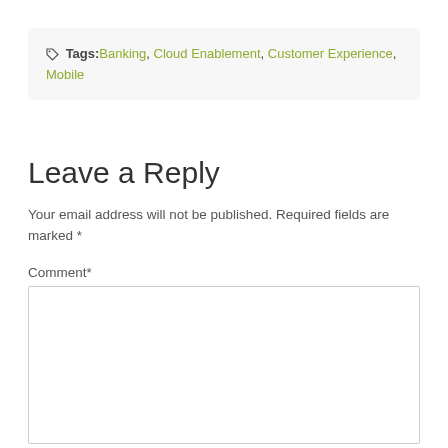Tags: Banking, Cloud Enablement, Customer Experience, Mobile
Leave a Reply
Your email address will not be published. Required fields are marked *
Comment*